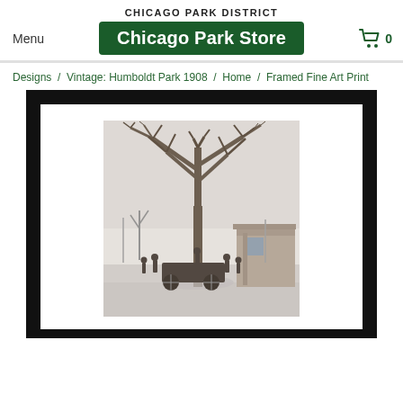CHICAGO PARK DISTRICT
Chicago Park Store
Menu
0
Designs / Vintage: Humboldt Park 1908 / Home / Framed Fine Art Print
[Figure (photo): Framed fine art print of a vintage 1908 black and white photograph of Humboldt Park, Chicago. The image shows a large bare winter tree in the foreground with people and a horse-drawn carriage gathered beneath it, and a building visible to the right. The photo is displayed in a wide black frame with white matting.]